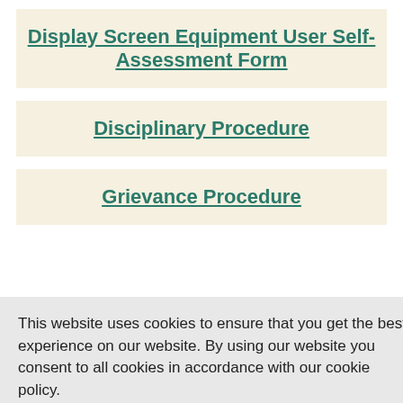Display Screen Equipment User Self-Assessment Form
Disciplinary Procedure
Grievance Procedure
This website uses cookies to ensure that you get the best experience on our website. By using our website you consent to all cookies in accordance with our cookie policy.
Cookie Policy
I accept
Committee Terms of Reference
Finance Committee
Chilmington Green Development Working Group